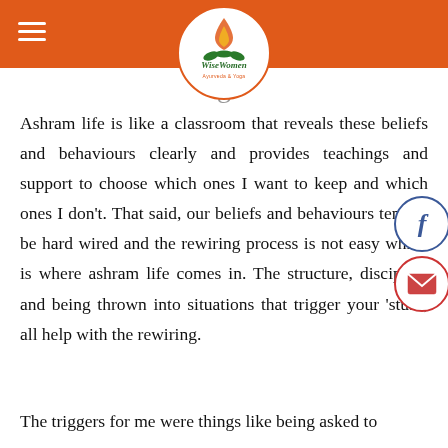[Figure (logo): WiseWomen Ayurveda & Yoga logo — circular logo with flame and lotus, green script text on white circle, on orange header bar]
Ashram life is like a classroom that reveals these beliefs and behaviours clearly and provides teachings and support to choose which ones I want to keep and which ones I don't. That said, our beliefs and behaviours tend to be hard wired and the rewiring process is not easy which is where ashram life comes in. The structure, discipline and being thrown into situations that trigger your 'stuff', all help with the rewiring.
The triggers for me were things like being asked to